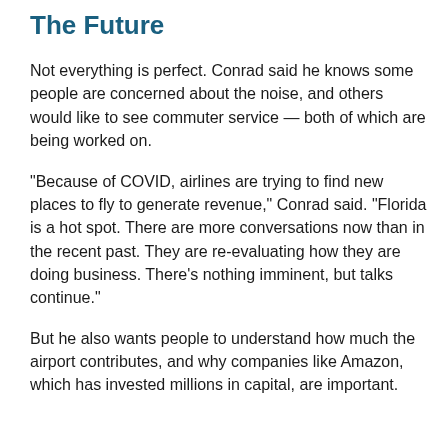The Future
Not everything is perfect. Conrad said he knows some people are concerned about the noise, and others would like to see commuter service — both of which are being worked on.
“Because of COVID, airlines are trying to find new places to fly to generate revenue,” Conrad said. “Florida is a hot spot. There are more conversations now than in the recent past. They are re-evaluating how they are doing business. There’s nothing imminent, but talks continue.”
But he also wants people to understand how much the airport contributes, and why companies like Amazon, which has invested millions in capital, are important.